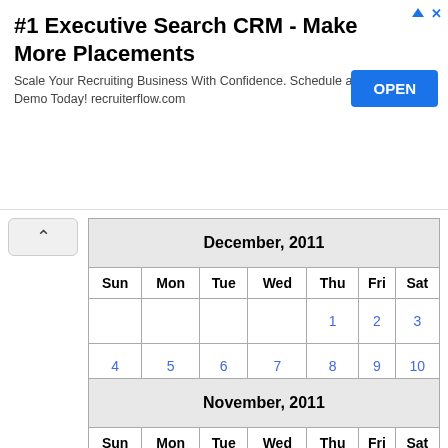[Figure (other): Advertisement banner for #1 Executive Search CRM recruiterflow.com with OPEN button]
| Sun | Mon | Tue | Wed | Thu | Fri | Sat |
| --- | --- | --- | --- | --- | --- | --- |
|  |  |  |  | 1 | 2 | 3 |
| 4 | 5 | 6 | 7 | 8 | 9 | 10 |
| 11 | 12 | 13 | 14 | 15 | 16 | 17 |
| 18 | 19 | 20 | 21 | 22 | 23 | 24 |
| 25 | 26 | 27 | 28 | 29 | 30 | 31 |
| Sun | Mon | Tue | Wed | Thu | Fri | Sat |
| --- | --- | --- | --- | --- | --- | --- |
|  |  | 1 | 2 | 3 | 4 | 5 |